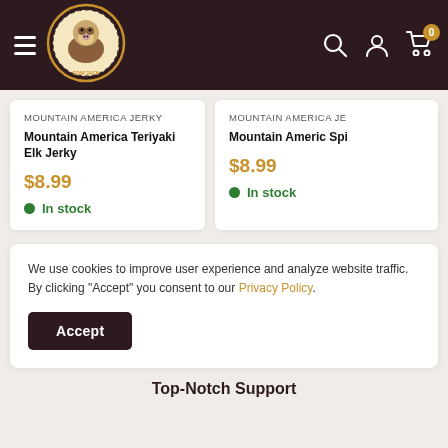Cow Jack store header with hamburger menu, logo, search, account, and cart icons
MOUNTAIN AMERICA JERKY
Mountain America Teriyaki Elk Jerky
$8.99
In stock
MOUNTAIN AMERICA JERKY
Mountain Americ Spi
$8.99
In stock
We use cookies to improve user experience and analyze website traffic. By clicking "Accept" you consent to our Privacy Policy.
Accept
Top-Notch Support